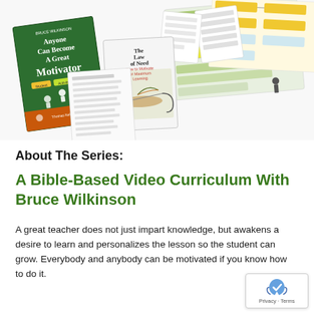[Figure (illustration): Collage of educational book covers and curriculum materials including 'Anyone Can Become A Great Motivator' by Bruce Wilkinson, 'The Law of Need' book with a fishing fly image, and various colorful curriculum charts and flow diagrams spread out at angles]
About The Series:
A Bible-Based Video Curriculum With Bruce Wilkinson
A great teacher does not just impart knowledge, but awakens a desire to learn and personalizes the lesson so the student can grow. Everybody and anybody can be motivated if you know how to do it.